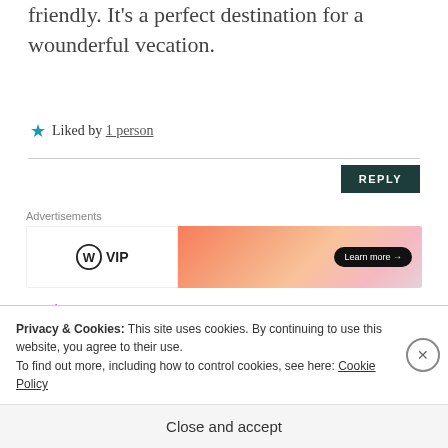friendly. It's a perfect destination for a wounderful vecation.
★ Liked by 1 person
REPLY
Advertisements
[Figure (logo): WordPress VIP advertisement banner with WP logo on left and orange gradient with Learn more button on right]
[Figure (logo): Zooyrthorblog logo with colorful geometric diamond pattern and blog name text]
Privacy & Cookies: This site uses cookies. By continuing to use this website, you agree to their use.
To find out more, including how to control cookies, see here: Cookie Policy
Close and accept